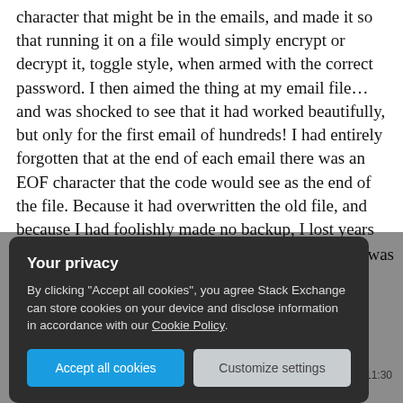character that might be in the emails, and made it so that running it on a file would simply encrypt or decrypt it, toggle style, when armed with the correct password. I then aimed the thing at my email file...and was shocked to see that it had worked beautifully, but only for the first email of hundreds! I had entirely forgotten that at the end of each email there was an EOF character that the code would see as the end of the file. Because it had overwritten the old file, and because I had foolishly made no backup, I lost years of email in one fell swoop!
[Figure (screenshot): Cookie consent modal dialog with dark background. Title: 'Your privacy'. Body text: 'By clicking "Accept all cookies", you agree Stack Exchange can store cookies on your device and disclose information in accordance with our Cookie Policy.' Two buttons: 'Accept all cookies' (blue) and 'Customize settings' (gray).]
Abhileet Ayan    31 Oct 19 at 11:30